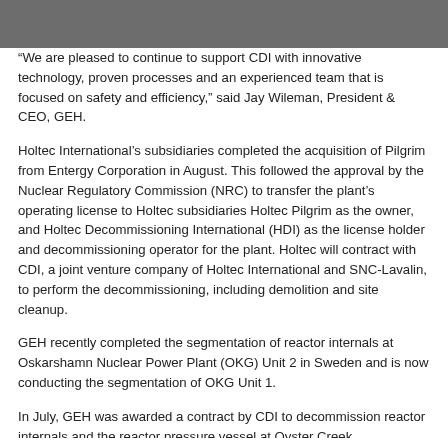“We are pleased to continue to support CDI with innovative technology, proven processes and an experienced team that is focused on safety and efficiency,” said Jay Wileman, President & CEO, GEH.
Holtec International’s subsidiaries completed the acquisition of Pilgrim from Entergy Corporation in August. This followed the approval by the Nuclear Regulatory Commission (NRC) to transfer the plant’s operating license to Holtec subsidiaries Holtec Pilgrim as the owner, and Holtec Decommissioning International (HDI) as the license holder and decommissioning operator for the plant. Holtec will contract with CDI, a joint venture company of Holtec International and SNC-Lavalin, to perform the decommissioning, including demolition and site cleanup.
GEH recently completed the segmentation of reactor internals at Oskarshamn Nuclear Power Plant (OKG) Unit 2 in Sweden and is now conducting the segmentation of OKG Unit 1.
In July, GEH was awarded a contract by CDI to decommission reactor internals and the reactor pressure vessel at Oyster Creek.